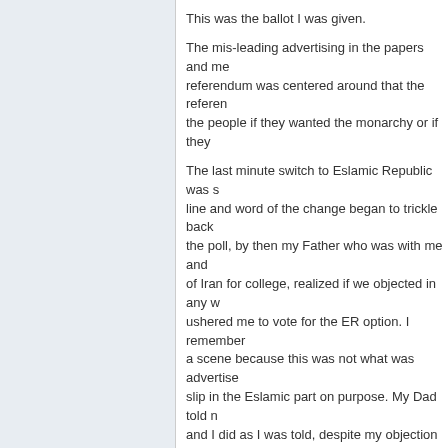This was the ballot I was given.
The mis-leading advertising in the papers and me... referendum was centered around that the referen... the people if they wanted the monarchy or if they...
The last minute switch to Eslamic Republic was s... line and word of the change began to trickle back... the poll, by then my Father who was with me and... of Iran for college, realized if we objected in any w... ushered me to vote for the ER option. I remember... a scene because this was not what was advertise... slip in the Eslamic part on purpose. My Dad told n... and I did as I was told, despite my objection to it. ... angry at what had happened.
Today, and everyday I contemplate what would ha... and called them on the great fraud and swindle.
I will always stand on the claim that in 1979 they o... under fear made us choose them.
Reality
by jeromeco on Wed Jul 28, 2010 03:50
Each Human Being is as preciou...
Each One of Us has our chance t... Another Human Being.